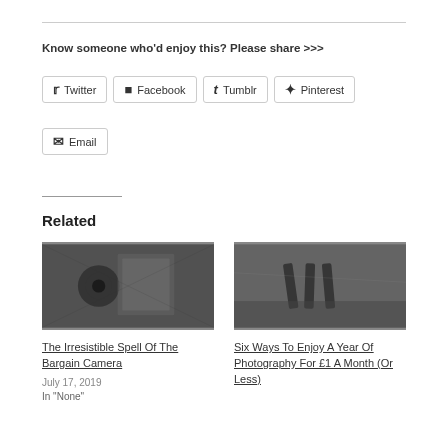Know someone who'd enjoy this? Please share >>>
Twitter | Facebook | Tumblr | Pinterest | Email
Related
[Figure (photo): Black and white photo of a door knocker on wood]
The Irresistible Spell Of The Bargain Camera
July 17, 2019
In "None"
[Figure (photo): Black and white photo of metal objects on stone]
Six Ways To Enjoy A Year Of Photography For £1 A Month (Or Less)